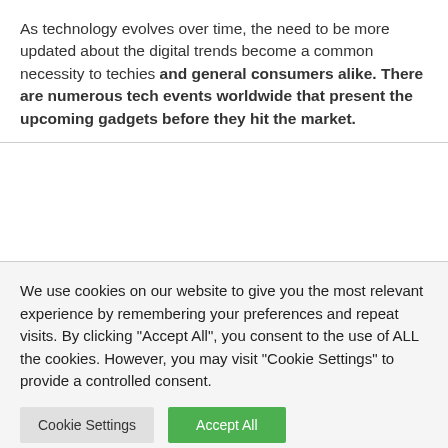As technology evolves over time, the need to be more updated about the digital trends become a common necessity to techies and general consumers alike. There are numerous tech events worldwide that present the upcoming gadgets before they hit the market.
We use cookies on our website to give you the most relevant experience by remembering your preferences and repeat visits. By clicking "Accept All", you consent to the use of ALL the cookies. However, you may visit "Cookie Settings" to provide a controlled consent.